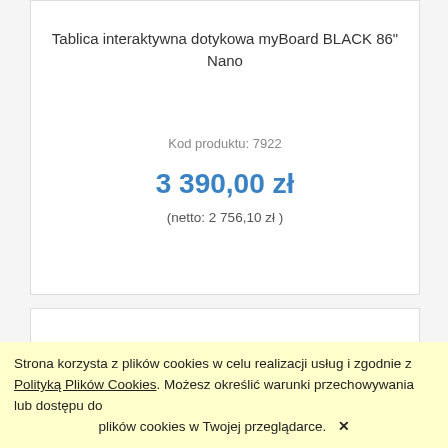Tablica interaktywna dotykowa myBoard BLACK 86" Nano
Kod produktu: 7922
3 390,00 zł
(netto: 2 756,10 zł )
[Figure (photo): Bottom of a product card showing partial view of the myBoard BLACK 86 Nano interactive touchboard monitor]
Strona korzysta z plików cookies w celu realizacji usług i zgodnie z Polityką Plików Cookies. Możesz określić warunki przechowywania lub dostępu do plików cookies w Twojej przeglądarce.